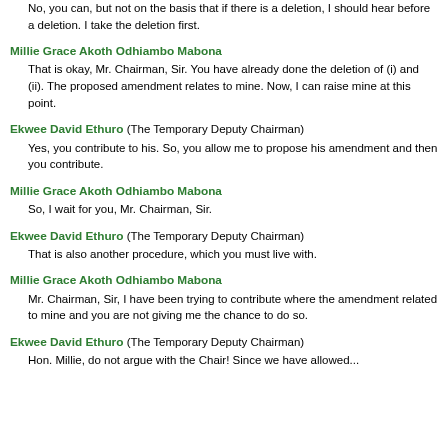No, you can, but not on the basis that if there is a deletion, I should hear before a deletion. I take the deletion first.
Millie Grace Akoth Odhiambo Mabona
That is okay, Mr. Chairman, Sir. You have already done the deletion of (i) and (ii). The proposed amendment relates to mine. Now, I can raise mine at this point.
Ekwee David Ethuro (The Temporary Deputy Chairman)
Yes, you contribute to his. So, you allow me to propose his amendment and then you contribute.
Millie Grace Akoth Odhiambo Mabona
So, I wait for you, Mr. Chairman, Sir.
Ekwee David Ethuro (The Temporary Deputy Chairman)
That is also another procedure, which you must live with.
Millie Grace Akoth Odhiambo Mabona
Mr. Chairman, Sir, I have been trying to contribute where the amendment related to mine and you are not giving me the chance to do so.
Ekwee David Ethuro (The Temporary Deputy Chairman)
Hon. Millie, do not argue with the Chair! Since we have allowed...